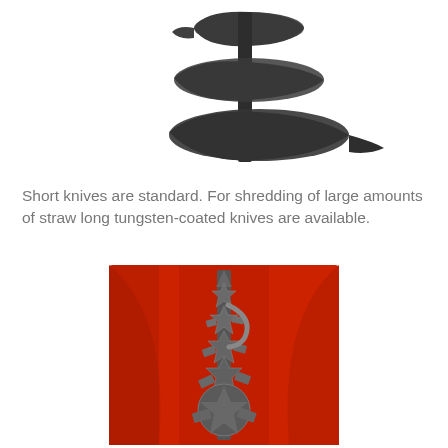[Figure (photo): A dark grey auger/screw conveyor component with spiral flighting, shown on a white background. The metallic dark grey component has helical blades wrapped around a central shaft.]
Short knives are standard. For shredding of large amounts of straw long tungsten-coated knives are available.
[Figure (photo): A metal shredding rotor with multiple cutting knives/blades arranged along a vertical shaft, photographed inside a red-painted machine housing. The rotor has star-shaped and flat cutting elements at various heights.]